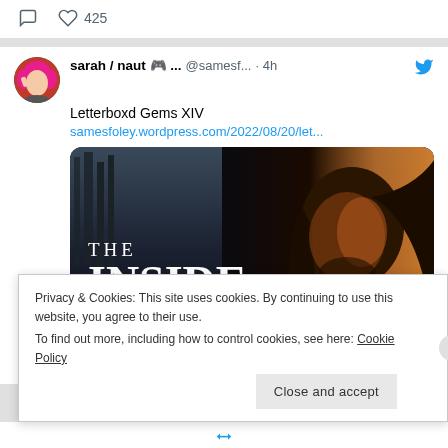[Figure (screenshot): Twitter/social media feed screenshot showing a tweet from 'sarah / naut' with gamepad emoji, handle @samesf..., posted 4h ago. Tweet text: 'Letterboxd Gems XIV' with link samesfoley.wordpress.com/2022/08/20/let... and an embedded movie poster image for 'THE INSIDE OUTTAKES'. Below is a cookie consent banner reading: 'Privacy & Cookies: This site uses cookies. By continuing to use this website, you agree to their use. To find out more, including how to control cookies, see here: Cookie Policy' with a 'Close and accept' button.]